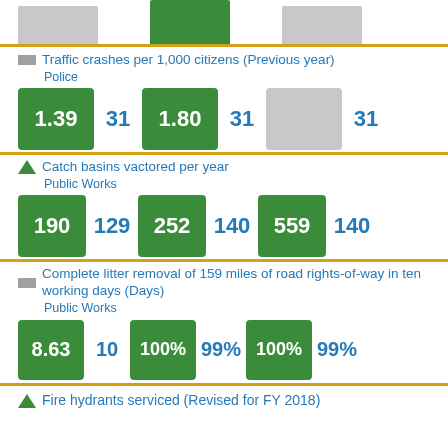[Figure (infographic): Top portion of bar chart, partially visible]
Traffic crashes per 1,000 citizens (Previous year)
Police
1.39 | 31 | 1.80 | 31 | [gray box] | 31
Catch basins vactored per year
Public Works
190 | 129 | 252 | 140 | 559 | 140
Complete litter removal of 159 miles of road rights-of-way in ten working days (Days)
Public Works
8.63 | 10 | 100% | 99% | 100% | 99%
Fire hydrants serviced (Revised for FY 2018)